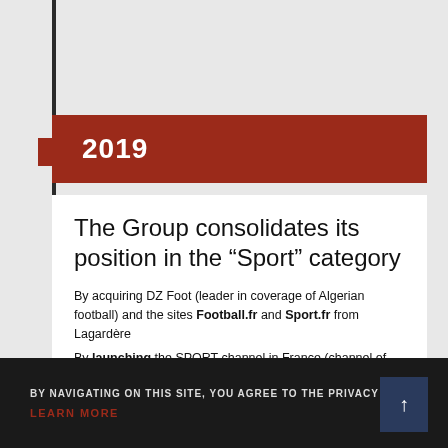2019
The Group consolidates its position in the “Sport” category
By acquiring DZ Foot (leader in coverage of Algerian football) and the sites Football.fr and Sport.fr from Lagardère
By launching the SPORT channel in France (channel of the French Olympic Committee)
BY NAVIGATING ON THIS SITE, YOU AGREE TO THE PRIVACY P…
LEARN MORE